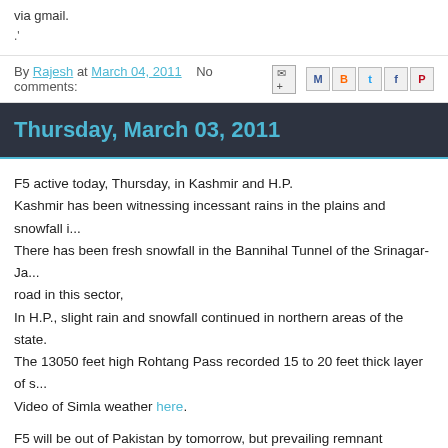via gmail.
.'
By Rajesh at March 04, 2011   No comments:
Thursday, March 03, 2011
F5 active today, Thursday, in Kashmir and H.P.
Kashmir has been witnessing incessant rains in the plains and snowfall i...
There has been fresh snowfall in the Bannihal Tunnel of the Srinagar-Ja... road in this sector,
In H.P., slight rain and snowfall continued in northern areas of the state.
The 13050 feet high Rohtang Pass recorded 15 to 20 feet thick layer of s...
Video of Simla weather here.

F5 will be out of Pakistan by tomorrow, but prevailing remnant moisture v...
Saturday.Expect day temperatures to rise suddenly from Sunday, specia... had a high of only 16c).
Northern India (including Punjab, Haryana and N.Rajasthan) will receive ... mountains of Western Nepal.